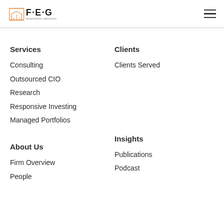FEG Investment Advisors
Services
Consulting
Outsourced CIO
Research
Responsive Investing
Managed Portfolios
Clients
Clients Served
About Us
Firm Overview
People
Insights
Publications
Podcast